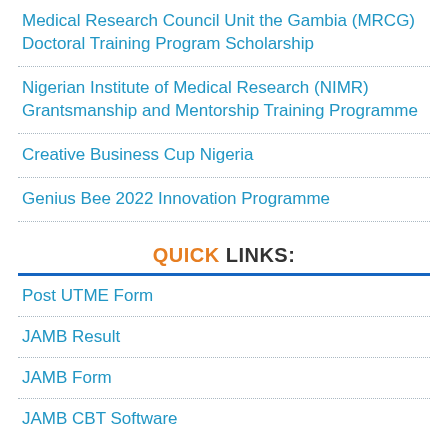Medical Research Council Unit the Gambia (MRCG) Doctoral Training Program Scholarship
Nigerian Institute of Medical Research (NIMR) Grantsmanship and Mentorship Training Programme
Creative Business Cup Nigeria
Genius Bee 2022 Innovation Programme
QUICK LINKS:
Post UTME Form
JAMB Result
JAMB Form
JAMB CBT Software